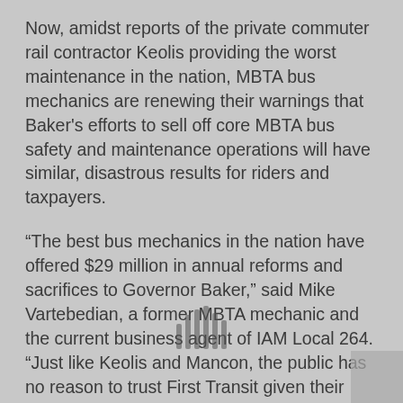Now, amidst reports of the private commuter rail contractor Keolis providing the worst maintenance in the nation, MBTA bus mechanics are renewing their warnings that Baker's efforts to sell off core MBTA bus safety and maintenance operations will have similar, disastrous results for riders and taxpayers.
“The best bus mechanics in the nation have offered $29 million in annual reforms and sacrifices to Governor Baker,” said Mike Vartebedian, a former MBTA mechanic and the current business agent of IAM Local 264. “Just like Keolis and Mancon, the public has no reason to trust First Transit given their horrendous track record which we will bring to the attention of the public and to the Fiscal Management & Control Board to save Massachusetts from yet another transit privatization catastrophe. You can’t have a legitimate